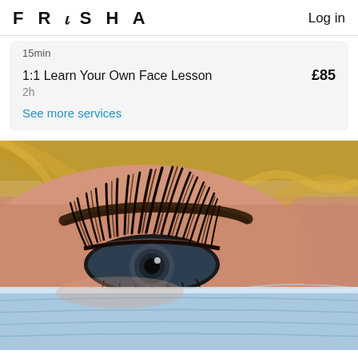FRESHA   Log in
15min
1:1 Learn Your Own Face Lesson   £85
2h
See more services
[Figure (photo): Close-up photo of a woman's eye with dramatic eyelash extensions, wearing a blue medical/hygiene mask, with blonde hair visible. The eye has long, dense, curled lash extensions.]